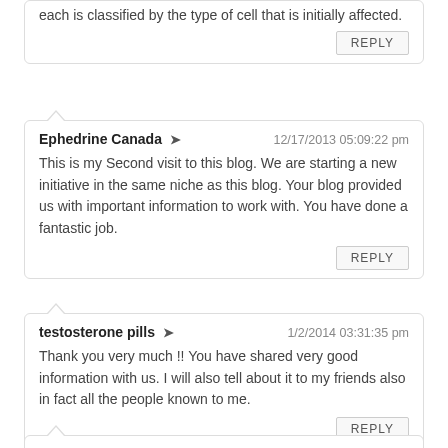each is classified by the type of cell that is initially affected.
REPLY
Ephedrine Canada ➜  12/17/2013 05:09:22 pm
This is my Second visit to this blog. We are starting a new initiative in the same niche as this blog. Your blog provided us with important information to work with. You have done a fantastic job.
REPLY
testosterone pills ➜  1/2/2014 03:31:35 pm
Thank you very much !! You have shared very good information with us. I will also tell about it to my friends also in fact all the people known to me.
REPLY
testosterone supplements ➜  1/2/2014 03:47:42 pm
Thanks for sharing this great article! That is very interesting I